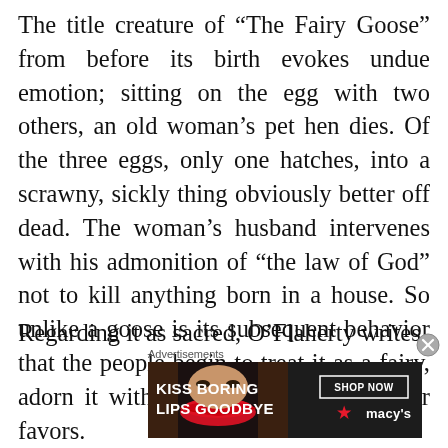The title creature of “The Fairy Goose” from before its birth evokes undue emotion; sitting on the egg with two others, an old woman’s pet hen dies. Of the three eggs, only one hatches, into a scrawny, sickly thing obviously better off dead. The woman’s husband intervenes with his admonition of “the law of God” not to kill anything born in a house. So unlike a goose is its subsequent behavior that the people begin to treat it as a fairy, adorn it with ribbons, and bestow other favors. Regarding it as sacred, O’Flaherty writes
Advertisements
[Figure (other): Advertisement banner for Macy's: 'KISS BORING LIPS GOODBYE' with a woman's face showing red lips, and a 'SHOP NOW' button with the Macy's star logo.]